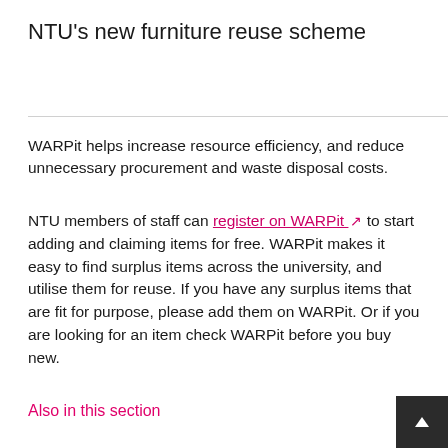NTU's new furniture reuse scheme
WARPit helps increase resource efficiency, and reduce unnecessary procurement and waste disposal costs.
NTU members of staff can register on WARPit to start adding and claiming items for free. WARPit makes it easy to find surplus items across the university, and utilise them for reuse. If you have any surplus items that are fit for purpose, please add them on WARPit. Or if you are looking for an item check WARPit before you buy new.
Also in this section